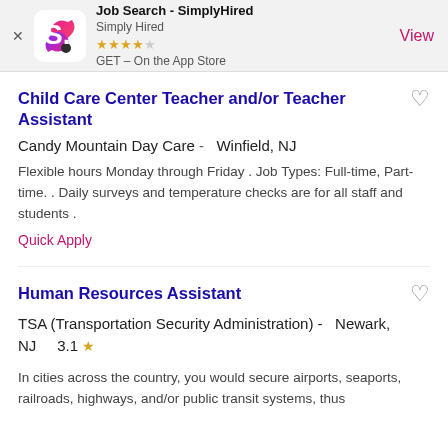[Figure (screenshot): App banner for Job Search - SimplyHired app with logo, star rating, and View button]
Child Care Center Teacher and/or Teacher Assistant
Candy Mountain Day Care -  Winfield, NJ
Flexible hours Monday through Friday . Job Types: Full-time, Part-time. . Daily surveys and temperature checks are for all staff and students .
Quick Apply
Human Resources Assistant
TSA (Transportation Security Administration) -  Newark, NJ  3.1
In cities across the country, you would secure airports, seaports, railroads, highways, and/or public transit systems, thus